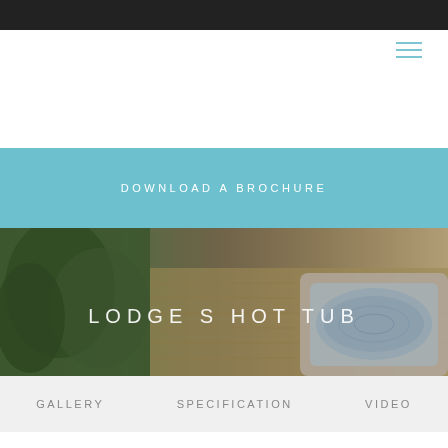DOWNLOAD A BROCHURE
[Figure (photo): Outdoor hot tub on wooden decking with greenery in background, hero image with text overlay reading LODGE S HOT TUB]
GALLERY   SPECIFICATION   VIDEO
LODGE S
Ideal for smaller holiday homes, Lodge S provides seating for 2 to 3 adults. 2 Ergonomic seats allows your guests to sit in comfort whilst a lounge seat provides a place for another guest to fully immerse their body into the water.